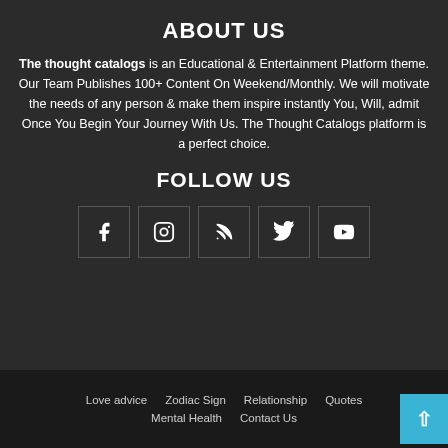ABOUT US
The thought catalogs is an Educational & Entertainment Platform theme. Our Team Publishes 100+ Content On Weekend/Monthly. We will motivate the needs of any person & make them inspire instantly You, Will, admit Once You Begin Your Journey With Us. The Thought Catalogs platform is a perfect choice.
FOLLOW US
[Figure (infographic): Five social media icon boxes in a row: Facebook (f), Instagram (camera), RSS feed, Twitter (bird), YouTube (play button)]
Love advice   Zodiac Sign   Relationship   Quotes   Mental Health   Contact Us